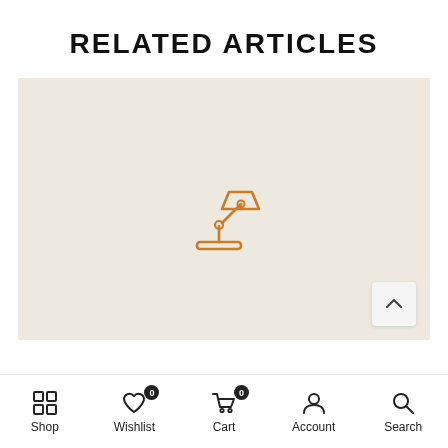RELATED ARTICLES
[Figure (illustration): A beige/cream colored placeholder image with a small orange desk lamp icon centered in it. A white scroll-to-top button with an upward chevron arrow is in the bottom-right corner of the image.]
Shop  Wishlist 0  Cart 0  Account  Search